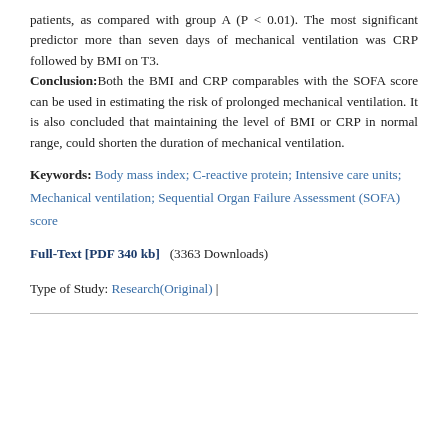patients, as compared with group A (P < 0.01). The most significant predictor more than seven days of mechanical ventilation was CRP followed by BMI on T3. Conclusion:Both the BMI and CRP comparables with the SOFA score can be used in estimating the risk of prolonged mechanical ventilation. It is also concluded that maintaining the level of BMI or CRP in normal range, could shorten the duration of mechanical ventilation.
Keywords: Body mass index; C-reactive protein; Intensive care units; Mechanical ventilation; Sequential Organ Failure Assessment (SOFA) score
Full-Text [PDF 340 kb]  (3363 Downloads)
Type of Study: Research(Original) |